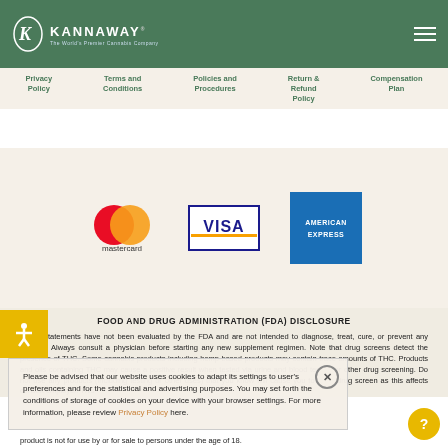[Figure (logo): Kannaway - The World's Premier Cannabis Company logo, white text on green background]
Privacy Policy | Terms and Conditions | Policies and Procedures | Return & Refund Policy | Compensation Plan
[Figure (logo): Mastercard, VISA, and American Express payment logos]
FOOD AND DRUG ADMINISTRATION (FDA) DISCLOSURE
These statements have not been evaluated by the FDA and are not intended to diagnose, treat, cure, or prevent any disease. Always consult a physician before starting any new supplement regimen. Note that drug screens detect the presence of THC. Some cannabis products including hemp-based products may contain trace amounts of THC. Products and oils containing THC may cause a positive result when tested via urine and blood testing or other drug screening. Do not use any products (including testing or other uses) that you know will cause you to fail a drug screen as this affects consult employer. This product is not for use by or for sale to persons under the age of 18.
Please be advised that our website uses cookies to adapt its settings to user's preferences and for the statistical and advertising purposes. You may set forth the conditions of storage of cookies on your device with your browser settings. For more information, please review Privacy Policy here.